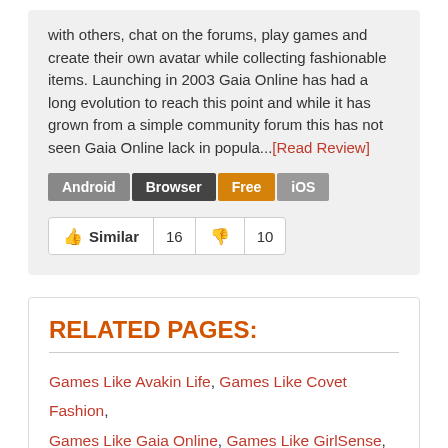with others, chat on the forums, play games and create their own avatar while collecting fashionable items. Launching in 2003 Gaia Online has had a long evolution to reach this point and while it has grown from a simple community forum this has not seen Gaia Online lack in popula...[Read Review]
Android  Browser  Free  iOS
Similar 16  10
RELATED PAGES:
Games Like Avakin Life, Games Like Covet Fashion, Games Like Gaia Online, Games Like GirlSense, Games Like Habbo Hotel, Games Like Kim Kardashian Hollywood, Games Like Lady Popular, Games Like Lisa Star...